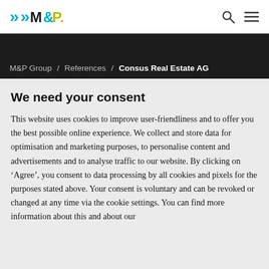>>M&P. [logo] [search icon] [menu icon]
M&P Group / References / Consus Real Estate AG
We need your consent
This website uses cookies to improve user-friendliness and to offer you the best possible online experience. We collect and store data for optimisation and marketing purposes, to personalise content and advertisements and to analyse traffic to our website. By clicking on ‘Agree’, you consent to data processing by all cookies and pixels for the purposes stated above. Your consent is voluntary and can be revoked or changed at any time via the cookie settings. You can find more information about this and about our